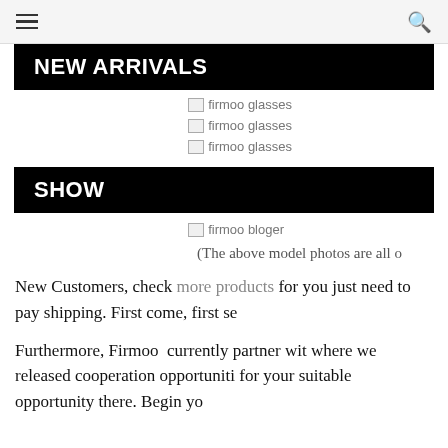≡   🔍
NEW ARRIVALS
[Figure (photo): Broken image placeholder labeled 'firmoo glasses']
[Figure (photo): Broken image placeholder labeled 'firmoo glasses']
[Figure (photo): Broken image placeholder labeled 'firmoo glasses']
SHOW
[Figure (photo): Broken image placeholder labeled 'firmoo bloger']
(The above model photos are all o
New Customers, check more products for you just need to pay shipping. First come, first se
Furthermore, Firmoo currently partner wit where we released cooperation opportuniti for your suitable opportunity there. Begin yo